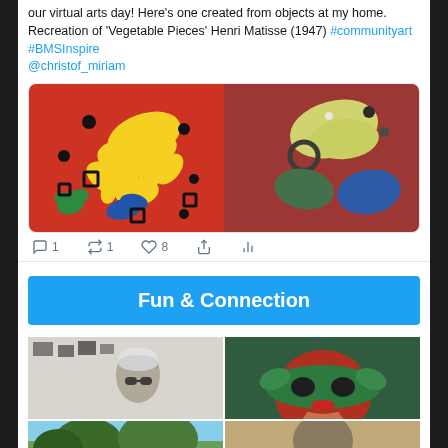our virtual arts day! Here's one created from objects at my home. Recreation of 'Vegetable Pieces' Henri Matisse (1947) #communityart #BMSInspire @christof_miriam
[Figure (photo): Two side-by-side photos: left is a colorful Matisse-style collage recreation with yellow, green, blue shapes on red background; right is a photo recreation using clothing items on a red fabric background.]
1   1   8
Fun & Connection
[Figure (photo): Grid of photos showing people wearing fun costumes/masks. Top left: person in room wearing bicycle helmet and novelty glasses. Top right: woman with red hair wearing large green leaf mask. Bottom row: outdoor tree scene and partial photo of person.]